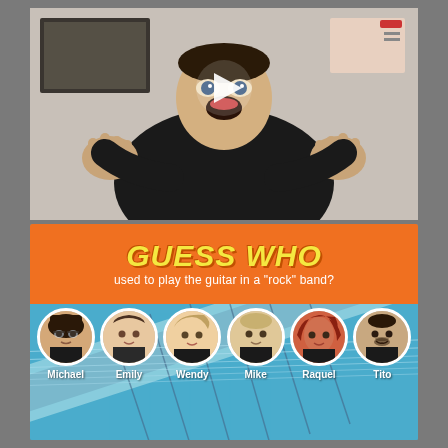[Figure (photo): A man in a black shirt with hands raised in an expressive gesture, appearing excited or enthusiastic, with a play button overlay indicating a video thumbnail. Background shows a light-colored wall with framed artwork.]
[Figure (infographic): Guess Who infographic with orange banner header reading 'GUESS WHO used to play the guitar in a "rock" band?' Below are six circular portrait photos of people named Michael, Emily, Wendy, Mike, Raquel, and Tito, set against a teal/guitar background.]